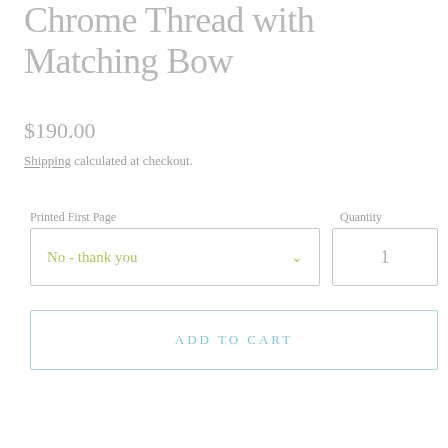Chrome Thread with Matching Bow
$190.00
Shipping calculated at checkout.
Printed First Page
Quantity
No - thank you
1
ADD TO CART